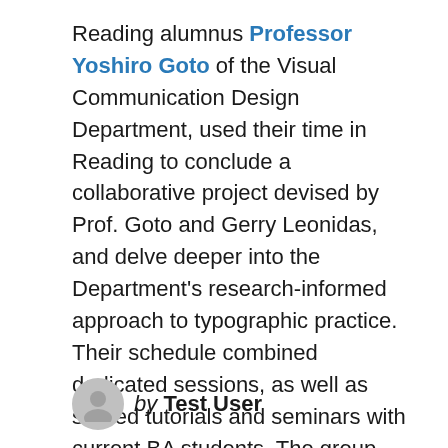Reading alumnus Professor Yoshiro Goto of the Visual Communication Design Department, used their time in Reading to conclude a collaborative project devised by Prof. Goto and Gerry Leonidas, and delve deeper into the Department's research-informed approach to typographic practice. Their schedule combined dedicated sessions, as well as shared tutorials and seminars with current BA students. The group also took part in sessions of particular interest by Professors Michael Twyman and Gerard Unger. Assisting generously throughout the week were fellow alumni Julian Moncada and Toshi Omagari (also a MAU alumnus).
by Test User